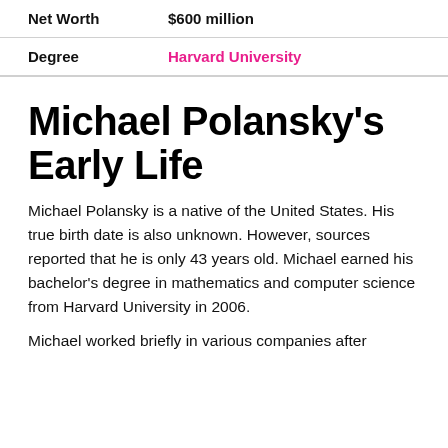| Net Worth | $600 million |
| Degree | Harvard University |
Michael Polansky's Early Life
Michael Polansky is a native of the United States. His true birth date is also unknown. However, sources reported that he is only 43 years old. Michael earned his bachelor's degree in mathematics and computer science from Harvard University in 2006.
Michael worked briefly in various companies after